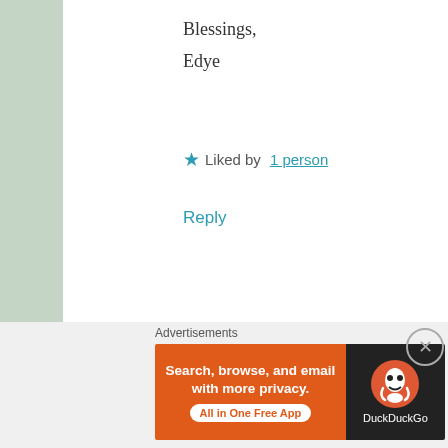Blessings,
Edye
★ Liked by 1 person
Reply
[Figure (photo): Circular avatar photo of Siffat Haider, a person in a blue/grey jacket]
Siffat Haider
OCTOBER 9, 2016 AT 10:08 AM
I am so obsessed with pumpkin-everything Thanksgiving dinner yesterday and still ca... lol! xo
Advertisements
[Figure (screenshot): DuckDuckGo advertisement banner: orange left section with text 'Search, browse, and email with more privacy. All in One Free App' and dark right section with DuckDuckGo logo]